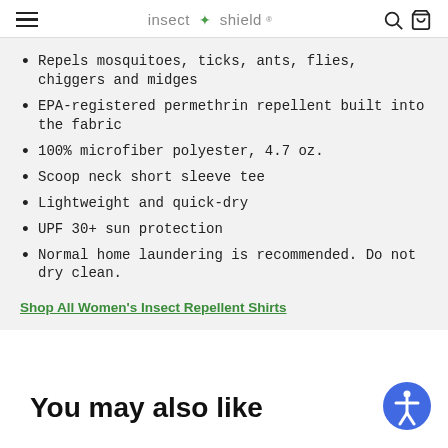insect shield
Repels mosquitoes, ticks, ants, flies, chiggers and midges
EPA-registered permethrin repellent built into the fabric
100% microfiber polyester, 4.7 oz.
Scoop neck short sleeve tee
Lightweight and quick-dry
UPF 30+ sun protection
Normal home laundering is recommended. Do not dry clean.
Shop All Women's Insect Repellent Shirts
You may also like